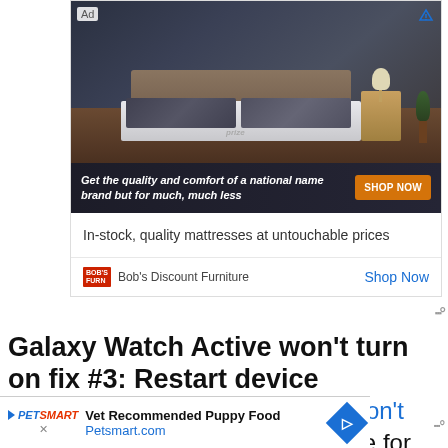[Figure (screenshot): Advertisement banner for Bob's Discount Furniture showing a bedroom with a mattress. Dark overlay bar reads 'Get the quality and comfort of a national name brand but for much, much less' with a 'SHOP NOW' orange button. Below shows tagline 'In-stock, quality mattresses at untouchable prices' and Bob's Discount Furniture logo with 'Shop Now' link.]
Galaxy Watch Active won't turn on fix #3: Restart device
If your Galaxy Watch Active still won't turn on at this point, the next move for y
[Figure (screenshot): Bottom advertisement bar for PetSmart with text 'Vet Recommended Puppy Food' and 'Petsmart.com' with a navigation/arrow icon.]